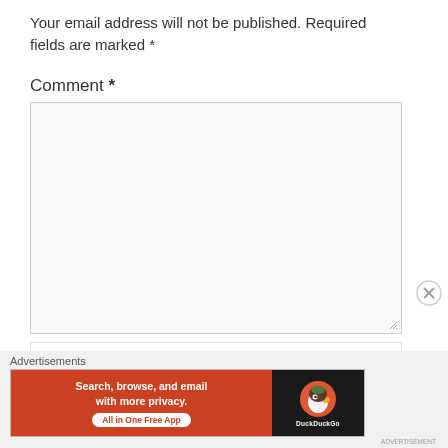Your email address will not be published. Required fields are marked *
Comment *
[Figure (screenshot): Empty comment textarea input box with resize handle]
[Figure (screenshot): DuckDuckGo advertisement banner: Search, browse, and email with more privacy. All in One Free App]
Advertisements